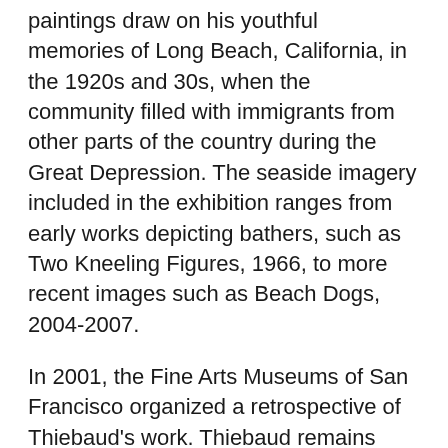Tide Lines (2004-2008). The artist's beach paintings draw on his youthful memories of Long Beach, California, in the 1920s and 30s, when the community filled with immigrants from other parts of the country during the Great Depression. The seaside imagery included in the exhibition ranges from early works depicting bathers, such as Two Kneeling Figures, 1966, to more recent images such as Beach Dogs, 2004-2007.
In 2001, the Fine Arts Museums of San Francisco organized a retrospective of Thiebaud's work. Thiebaud remains active in his Sacramento studio, as a painter, arts educator, and as a tennis player.